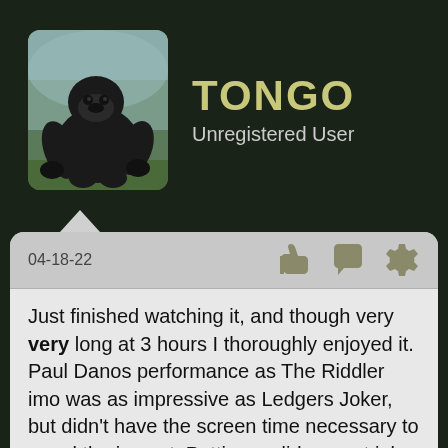TONGO
Unregistered User
04-18-22
Just finished watching it, and though very very long at 3 hours I thoroughly enjoyed it. Paul Danos performance as The Riddler imo was as impressive as Ledgers Joker, but didn't have the screen time necessary to equal the impact. Pattinson did a great job as The Batman, the only criticism being he's not muscular, but is at least as good Christian Bale. Anyway, the movie is better than this review so go see it.